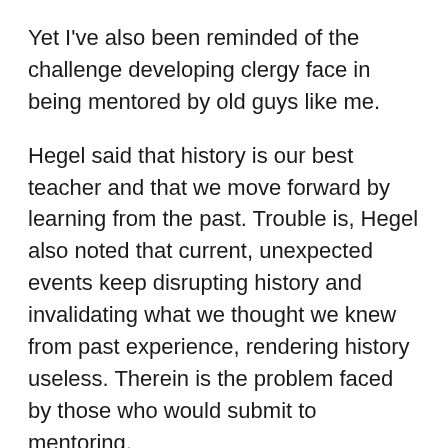Yet I've also been reminded of the challenge developing clergy face in being mentored by old guys like me.
Hegel said that history is our best teacher and that we move forward by learning from the past. Trouble is, Hegel also noted that current, unexpected events keep disrupting history and invalidating what we thought we knew from past experience, rendering history useless. Therein is the problem faced by those who would submit to mentoring.
Mainline Protestantism is not doing well. Have you noticed? The present age presents us with new challenges. I am unclear about the precise directions the church ought to take, but I know enough to know that our churches must be led differently if we are to have a different future than the rather diminished one to which many feel we are fated.